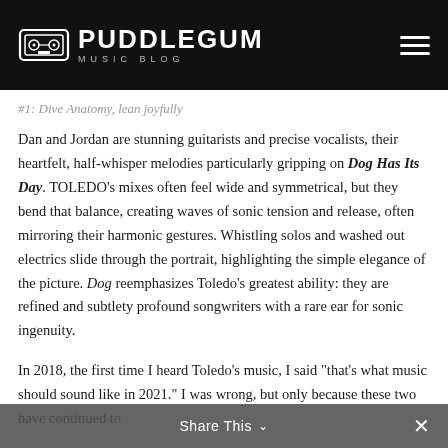PUDDLEGUM MUSIC BLOG
#1: Dive Anatomy, lean joyfully
Dan and Jordan are stunning guitarists and precise vocalists, their heartfelt, half-whisper melodies particularly gripping on Dog Has Its Day. TOLEDO’s mixes often feel wide and symmetrical, but they bend that balance, creating waves of sonic tension and release, often mirroring their harmonic gestures. Whistling solos and washed out electrics slide through the portrait, highlighting the simple elegance of the picture. Dog reemphasizes Toledo’s greatest ability: they are refined and subtlety profound songwriters with a rare ear for sonic ingenuity.
In 2018, the first time I heard Toledo’s music, I said “that’s what music should sound like in 2021.” I was wrong, but only because these two have continued to
Share This